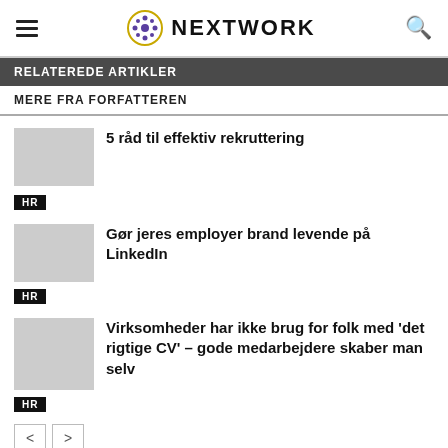NEXTWORK
RELATEREDE ARTIKLER
MERE FRA FORFATTEREN
5 råd til effektiv rekruttering
HR
Gør jeres employer brand levende på LinkedIn
HR
Virksomheder har ikke brug for folk med 'det rigtige CV' – gode medarbejdere skaber man selv
HR